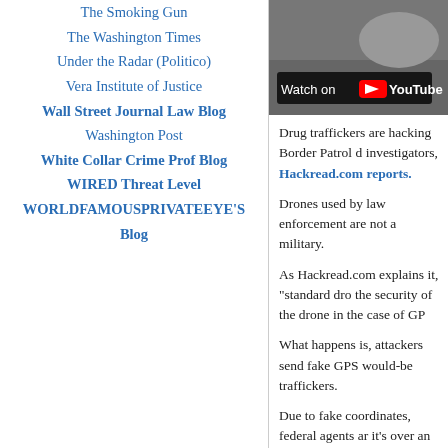The Smoking Gun
The Washington Times
Under the Radar (Politico)
Vera Institute of Justice
Wall Street Journal Law Blog
Washington Post
White Collar Crime Prof Blog
WIRED Threat Level
WORLDFAMOUSPRIVATEEYE'S Blog
[Figure (screenshot): YouTube video thumbnail showing 'Watch on YouTube' overlay button on a dark background]
Drug traffickers are hacking Border Patrol drones to evade investigators, Hackread.com reports.
Drones used by law enforcement are not as secure as those used by the military.
As Hackread.com explains it, “standard dro... the security of the drone in the case of GP...
What happens is, attackers send fake GPS... would-be traffickers.
Due to fake coordinates, federal agents ar... it's over an entirely different area.
Posted: January 4th, 2016 under News
Tags: Border, Border Patrol, drones, dr...
Comments: none